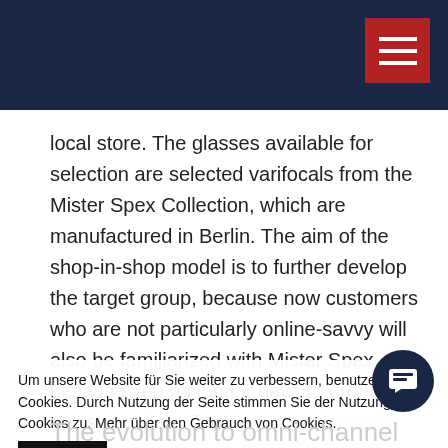[Navigation bar with hamburger menu]
local store. The glasses available for selection are selected varifocals from the Mister Spex Collection, which are manufactured in Berlin. The aim of the shop-in-shop model is to further develop the target group, because now customers who are not particularly online-savvy will also be familiarized with Mister Spex, because you no longer have to order the glasses online. This deeper cooperation is advertised through local ads and at Mister Spex on the website. The advantages of stationary trade remain the same as before.
Um unsere Website für Sie weiter zu verbessern, benutzen wir Cookies. Durch Nutzung der Seite stimmen Sie der Nutzung von Cookies zu. Mehr über den Gebrauch von Cookies.
The evolution to omni-channel